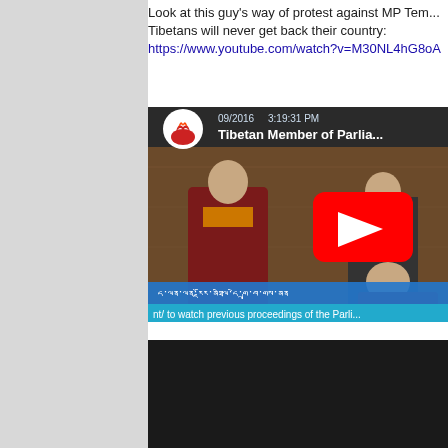Look at this guy's way of protest against MP Tem... Tibetans will never get back their country:
https://www.youtube.com/watch?v=M30NL4hG8oA
[Figure (screenshot): YouTube video thumbnail showing Tibetan Member of Parliament session with monk in robes, timestamp 09/2016 3:19:31 PM, with red YouTube play button overlay and Tibetan script caption bar at bottom reading 'nt/ to watch previous proceedings of the Parli...']
[Figure (screenshot): Second YouTube video thumbnail, dark/black content area]